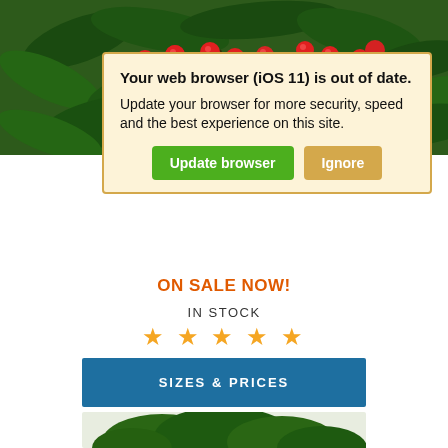[Figure (photo): Close-up photograph of red berries on a holly plant with green leaves, partially visible behind a popup dialog]
Your web browser (iOS 11) is out of date.
Update your browser for more security, speed and the best experience on this site.
[Update browser] [Ignore]
ON SALE NOW!
IN STOCK
[Figure (infographic): Five gold/yellow star rating icons]
SIZES & PRICES
[Figure (photo): Partial view of a plant with green foliage at the bottom of the page]